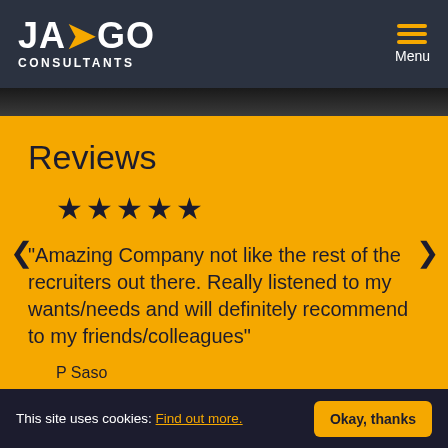JAGO CONSULTANTS — Menu
Reviews
★★★★★
“Amazing Company not like the rest of the recruiters out there. Really listened to my wants/needs and will definitely recommend to my friends/colleagues”
P Saso
This site uses cookies: Find out more. Okay, thanks